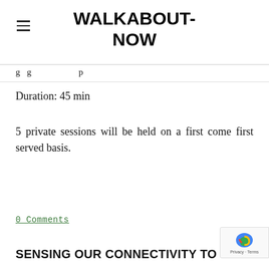WALKABOUT-NOW
g g p
Duration: 45 min
5 private sessions will be held on a first come first served basis.
Tweet
0 Comments
[Figure (other): reCAPTCHA badge with privacy and terms links]
SENSING OUR CONNECTIVITY TO